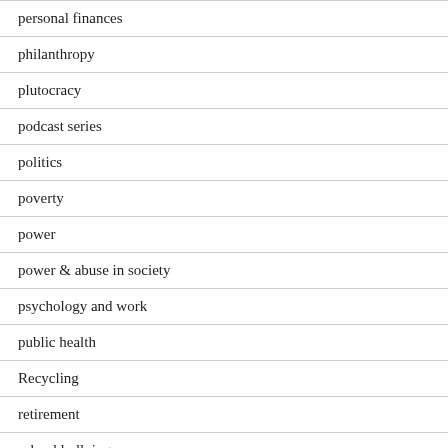personal finances
philanthropy
plutocracy
podcast series
politics
poverty
power
power & abuse in society
psychology and work
public health
Recycling
retirement
school bullying
science
social responsibility